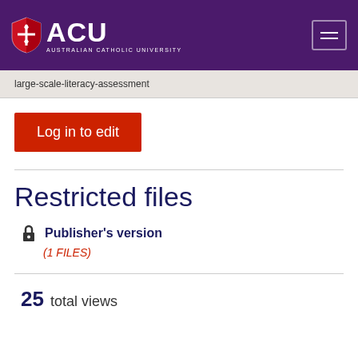[Figure (logo): ACU - Australian Catholic University logo with shield icon on dark purple header background with hamburger menu button]
large-scale-literacy-assessment
Log in to edit
Restricted files
Publisher's version
(1 FILES)
25  total views